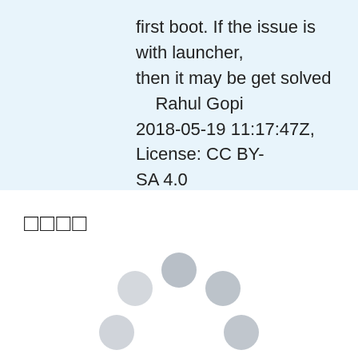first boot. If the issue is with launcher, then it may be get solved    Rahul Gopi 2018-05-19 11:17:47Z, License: CC BY-SA 4.0
□□□□
[Figure (other): Loading spinner made of 8 gray circles arranged in a circular pattern]
□□□□□□,□□□...